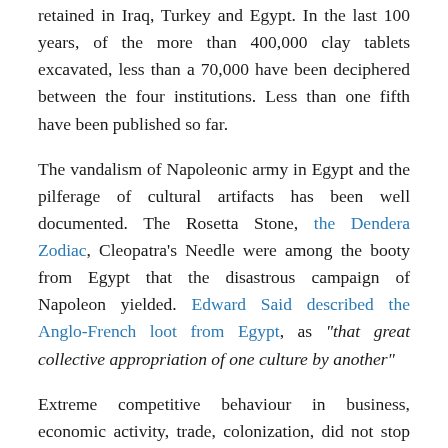retained in Iraq, Turkey and Egypt. In the last 100 years, of the more than 400,000 clay tablets excavated, less than a 70,000 have been deciphered between the four institutions. Less than one fifth have been published so far.
The vandalism of Napoleonic army in Egypt and the pilferage of cultural artifacts has been well documented. The Rosetta Stone, the Dendera Zodiac, Cleopatra's Needle were among the booty from Egypt that the disastrous campaign of Napoleon yielded. Edward Said described the Anglo-French loot from Egypt, as "that great collective appropriation of one culture by another"
Extreme competitive behaviour in business, economic activity, trade, colonization, did not stop Germany (repository of the Akhmim Kodex) and Britain (Bruce Codex and Askew Codex) to collude with the Vatican in keeping the Pistis Sophia (which reveals the deep Indic /Buddhist influence) from reaching the